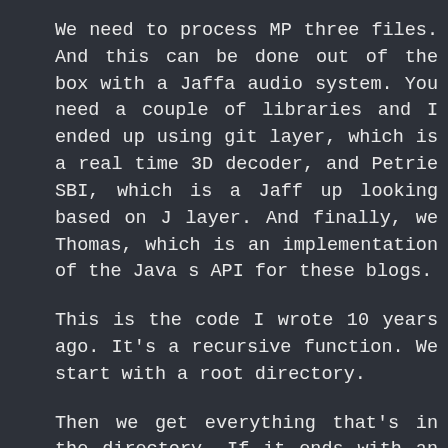We need to process MP three files. And this can be done out of the box with a Jaffa audio system. You need a couple of libraries and I ended up using git layer, which is a real time 3D decoder, and Petrie SBI, which is a Jaff up looking based on J layer. And finally, we Thomas, which is an implementation of the Java s API for these blogs.
This is the code I wrote 10 years ago. It's a recursive function. We start with a root directory.
Then we get everything that's in the directory. If it ends with an MP three files, we process this audio